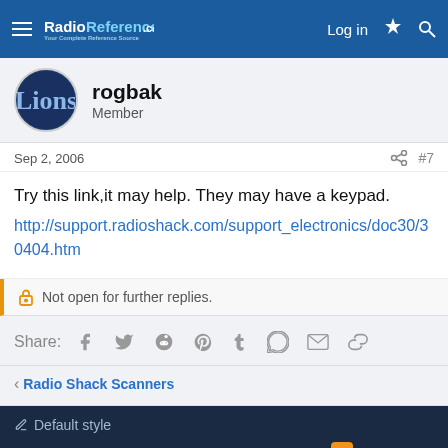RadioReference.com — Your Complete Reference Source | Log in
rogbak
Member
Sep 2, 2006  #7
Try this link,it may help. They may have a keypad.
http://support.radioshack.com/support_electronics/doc30/30404.htm
Not open for further replies.
Share:
< Radio Shack Scanners
Default style
Contact us  Terms and rules  Privacy policy  Help